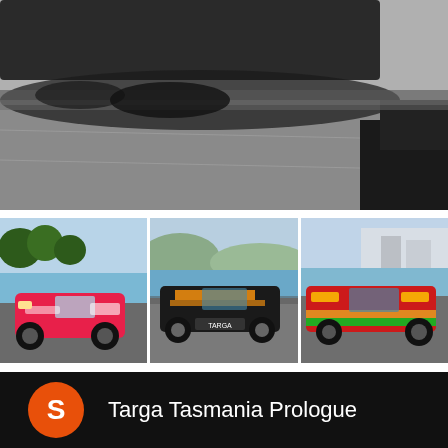[Figure (photo): Close-up underside/front of a dark sports car on a road, blurred motion background, partial view of another dark object at right]
[Figure (photo): Three rally/race cars on a waterfront road: left - pink Nissan GT-R with sponsor decals, center - black and orange Nissan GT-R, right - red and green Nissan GT-R with sponsor livery]
S  Targa Tasmania Prologue